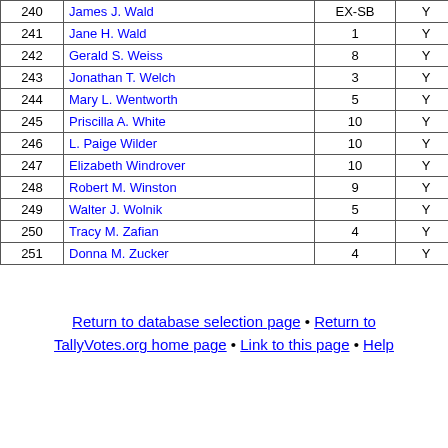| # | Name | District | Y |  |
| --- | --- | --- | --- | --- |
| 240 | James J. Wald | EX-SB | Y |  |
| 241 | Jane H. Wald | 1 | Y |  |
| 242 | Gerald S. Weiss | 8 | Y |  |
| 243 | Jonathan T. Welch | 3 | Y |  |
| 244 | Mary L. Wentworth | 5 | Y |  |
| 245 | Priscilla A. White | 10 | Y |  |
| 246 | L. Paige Wilder | 10 | Y | H |
| 247 | Elizabeth Windrover | 10 | Y |  |
| 248 | Robert M. Winston | 9 | Y |  |
| 249 | Walter J. Wolnik | 5 | Y |  |
| 250 | Tracy M. Zafian | 4 | Y |  |
| 251 | Donna M. Zucker | 4 | Y |  |
Return to database selection page • Return to TallyVotes.org home page • Link to this page • Help